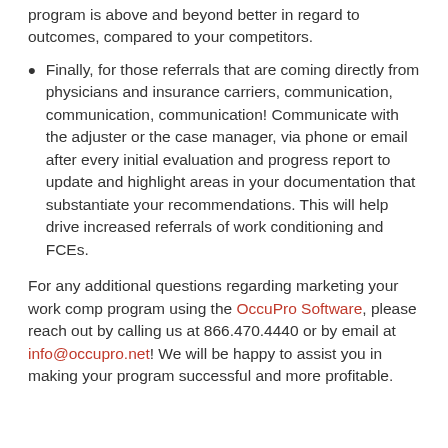program is above and beyond better in regard to outcomes, compared to your competitors.
Finally, for those referrals that are coming directly from physicians and insurance carriers, communication, communication, communication! Communicate with the adjuster or the case manager, via phone or email after every initial evaluation and progress report to update and highlight areas in your documentation that substantiate your recommendations. This will help drive increased referrals of work conditioning and FCEs.
For any additional questions regarding marketing your work comp program using the OccuPro Software, please reach out by calling us at 866.470.4440 or by email at info@occupro.net! We will be happy to assist you in making your program successful and more profitable.